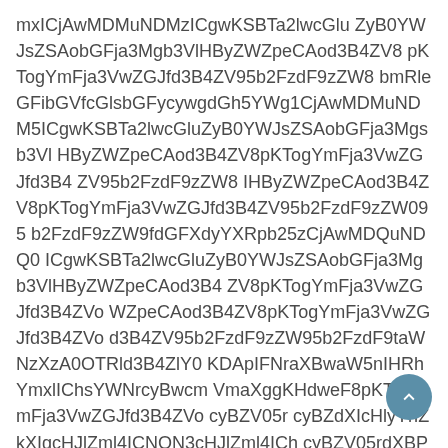mxICjAwMDMuNDMzICgwKSBTa2lwcGlu ZyB0YWJsZSAobGFja3Mgb3VlHByZWZpeCAod3B4ZV8 pKTogYmFja3VwZGJfd3B4ZV95b2FzdF9zZW8 bmRleGFibGVfcGlsbGFycywgdGh5YWh5CjAwMDMuNDM5ICgwKSB Ta2lwcGluZyB0YWJsZSAobGFja3Mgb3VlHByZWZpeCAod3B4 ZV8pKTogYmFja3VwZGJfd3B4ZV95b2FzdF9zZW8 IHByZWZpeCAod3B4ZV8pKTogYmFja3VwZGJfd3B4ZV95b2FzdF9zZW095 b2FzdF9zZW9fdGFXdyYXRpb25zCjAwMDQuNDQ0 ICgwKSBTa2lwcGluZyB0YWJsZSAobGFja3Mgb3VlHByZWZpeCAod3B4 ZV8pKTogYmFja3VwZGJfd3B4ZV95b2FzdFo WZpeCAod3B4ZV8pKTogYmFja3VwZGJfd3B4ZVo d3B4ZV95b2FzdF9zZW95b2FzdF9taWNzXzA0OTRld3B4ZlY0 KDApIFNraXBwaW5nIHRhYmxlIChsYWNrcyBwcm VmaXggKHdweF8pKTogYmFja3VwZGJfd3B4ZVo cyBZV05r cyBZdXIcHlyYnZkXIgcHJlZml4ICNON3cHJlZml4ICh cyBZV05rdXBPaUJpWVdOcmRYQmtZbI93cHhlWQI93cHhlWYI93cHhlWYI93cHhi X3lvWVhOMFgzTmliMTlzYVc1cmN3b3dNREF6 LjQ2NSAoMCkgU2tpcHBpbmcgdGFibGUgKGxhY2tzIHByZWZpeCAod3B4ZV8pKTogYmFja3VwZGJfd3B4ZSBHZ2doWTJ0ekcgOTEg cGlCd2NtVm1hWGdnS0hkd2VHVmZLU2s2SUdKaFkydDEg cGlCd2NtVm1hWGdnS0hkd2VHVmZLU2s2SUdKaFkydDEg cGlCd2NtVm1hWGd